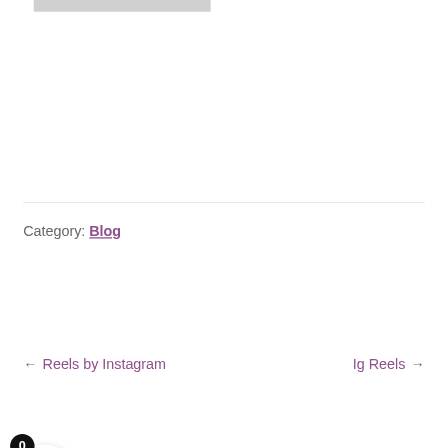[Figure (screenshot): Partial top grey bar at top of page]
Category: Blog
← Reels by Instagram
Ig Reels →
nt Posts
[Figure (screenshot): WhatsApp chat button: 'How can I help you?']
[Figure (screenshot): Bottom navigation bar with person/user icon, search icon, and shopping basket icon with badge '0']